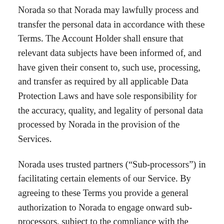Norada so that Norada may lawfully process and transfer the personal data in accordance with these Terms. The Account Holder shall ensure that relevant data subjects have been informed of, and have given their consent to, such use, processing, and transfer as required by all applicable Data Protection Laws and have sole responsibility for the accuracy, quality, and legality of personal data processed by Norada in the provision of the Services.
Norada uses trusted partners (“Sub-processors”) in facilitating certain elements of our Service. By agreeing to these Terms you provide a general authorization to Norada to engage onward sub-processors, subject to the compliance with the requirements set out here. If the